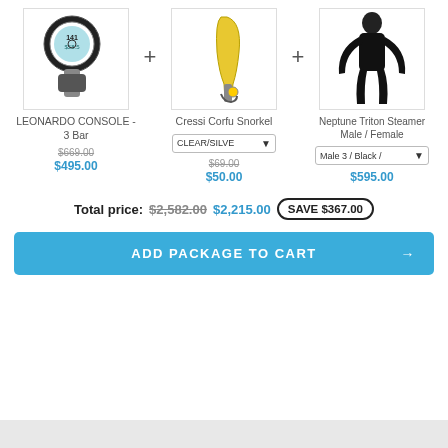[Figure (photo): Product: LEONARDO CONSOLE - 3 Bar dive gauge with digital display]
[Figure (photo): Product: Cressi Corfu Snorkel in yellow/clear]
[Figure (photo): Product: Neptune Triton Steamer Male/Female wetsuit in black]
LEONARDO CONSOLE - 3 Bar
Cressi Corfu Snorkel
Neptune Triton Steamer Male / Female
CLEAR/SILVE ▾
Male 3 / Black / ▾
$669.00
$495.00
$69.00
$50.00
$595.00
Total price: $2,582.00 $2,215.00 SAVE $367.00
ADD PACKAGE TO CART →